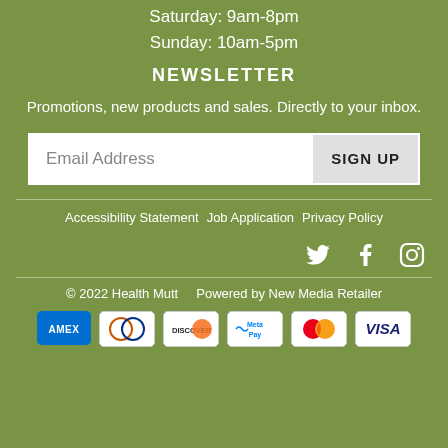Saturday: 9am-8pm
Sunday: 10am-5pm
NEWSLETTER
Promotions, new products and sales. Directly to your inbox.
Email Address  SIGN UP
Accessibility Statement
Job Application
Privacy Policy
[Figure (infographic): Social media icons for Twitter, Facebook, and Instagram]
© 2022 Health Mutt   Powered by New Media Retailer
[Figure (infographic): Payment method icons: American Express, Diners Club, Discover, Meta Pay, Mastercard, Visa]